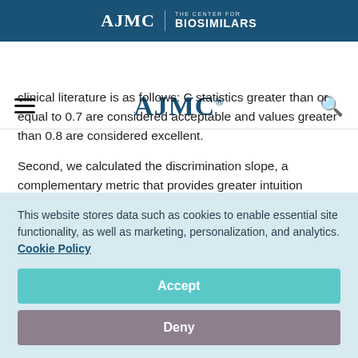AJMC | THE CENTER FOR BIOSIMILARS
[Figure (logo): AJMC navigation bar with hamburger menu and search icon]
clinical literature is as follows: C statistics greater than or equal to 0.7 are considered acceptable and values greater than 0.8 are considered excellent.
Second, we calculated the discrimination slope, a complementary metric that provides greater intuition
This website stores data such as cookies to enable essential site functionality, as well as marketing, personalization, and analytics. Cookie Policy
Accept
Deny